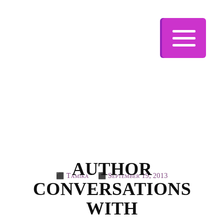[Figure (other): Purple/magenta hamburger menu button icon in top right corner with three white horizontal lines]
Tamika  September 19, 2013
AUTHOR CONVERSATIONS WITH